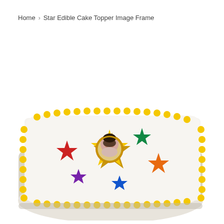Home › Star Edible Cake Topper Image Frame
[Figure (photo): A rectangular white frosted cake with yellow rosette border decorations on a cardboard base. On top of the cake are colorful star decorations (red, green, orange, purple, blue) and a large gold 3D star cake topper with a circular photo frame in the center showing a young woman with dark hair.]